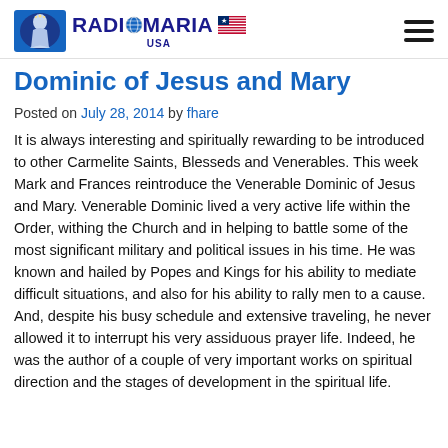Radio Maria USA
Dominic of Jesus and Mary
Posted on July 28, 2014 by fhare
It is always interesting and spiritually rewarding to be introduced to other Carmelite Saints, Blesseds and Venerables. This week Mark and Frances reintroduce the Venerable Dominic of Jesus and Mary. Venerable Dominic lived a very active life within the Order, withing the Church and in helping to battle some of the most significant military and political issues in his time. He was known and hailed by Popes and Kings for his ability to mediate difficult situations, and also for his ability to rally men to a cause. And, despite his busy schedule and extensive traveling, he never allowed it to interrupt his very assiduous prayer life. Indeed, he was the author of a couple of very important works on spiritual direction and the stages of development in the spiritual life.